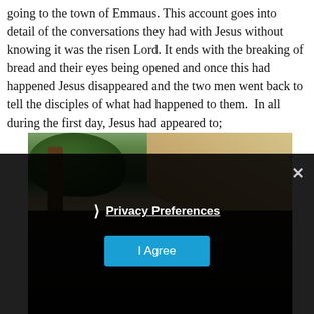going to the town of Emmaus. This account goes into detail of the conversations they had with Jesus without knowing it was the risen Lord. It ends with the breaking of bread and their eyes being opened and once this had happened Jesus disappeared and the two men went back to tell the disciples of what had happened to them.  In all during the first day, Jesus had appeared to;
[Figure (photo): A painting/illustration showing a tree with foliage in the upper portion, with a landscape background. The lower portion shows darkened figures, partially obscured by a cookie consent overlay.]
❯ Privacy Preferences
I Agree